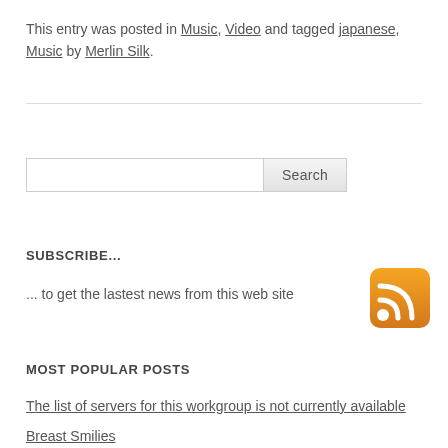This entry was posted in Music, Video and tagged japanese, Music by Merlin Silk.
SUBSCRIBE...
... to get the lastest news from this web site
[Figure (illustration): Orange RSS feed icon with white wifi-style signal waves on a rounded square background]
MOST POPULAR POSTS
The list of servers for this workgroup is not currently available
Breast Smilies